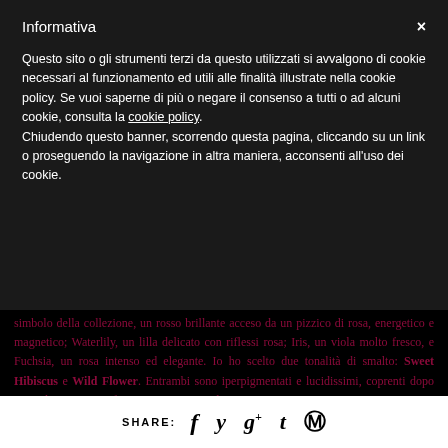Informativa
Questo sito o gli strumenti terzi da questo utilizzati si avvalgono di cookie necessari al funzionamento ed utili alle finalità illustrate nella cookie policy. Se vuoi saperne di più o negare il consenso a tutti o ad alcuni cookie, consulta la cookie policy. Chiudendo questo banner, scorrendo questa pagina, cliccando su un link o proseguendo la navigazione in altra maniera, acconsenti all'uso dei cookie.
simbolo della collezione, un rosso brillante acceso da un pizzico di rosa, energetico e magnetico; Waterlily, un lilla delicato con riflessi rosa; Iris, un viola molto fresco, e Fuchsia, un rosa intenso ed elegante. Io ho scelto due tonalità di smalto: Sweet Hibiscus e Wild Flower. Entrambi sono iperpigmentati e lucidissimi, coprenti dopo una sola passata, perfetti per impreziosire la mia manicure.
SHARE: f y g+ t p